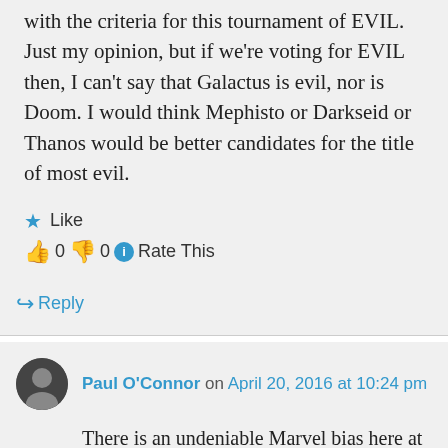with the criteria for this tournament of EVIL. Just my opinion, but if we're voting for EVIL then, I can't say that Galactus is evil, nor is Doom. I would think Mephisto or Darkseid or Thanos would be better candidates for the title of most evil.
★ Like
👍 0 👎 0 ℹ Rate This
↪ Reply
Paul O'Connor on April 20, 2016 at 10:24 pm
There is an undeniable Marvel bias here at Longbox Graveyard, but take heart — I'll be